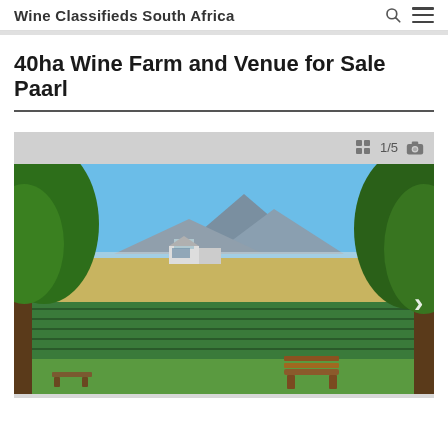Wine Classifieds South Africa
40ha Wine Farm and Venue for Sale Paarl
[Figure (photo): Scenic view of a wine farm in Paarl, South Africa. Lush green vineyard rows in the foreground, large trees framing the left and right sides, farm buildings in the middle distance, open golden fields, and the Paarl Mountain range under a clear blue sky. A wooden bench sits in the grassy area in the foreground. Image counter shows 1/5.]